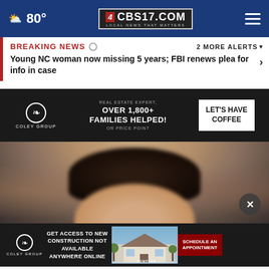CBS17.COM — Local News That Matters | 80° weather
BREAKING NEWS  2 MORE ALERTS
Young NC woman now missing 5 years; FBI renews plea for info in case
[Figure (infographic): Coley Group advertisement: REAL ESTATE EXPERT, OVER 1,800+ FAMILIES HELPED! OR PRICE POINT — LET'S HAVE COFFEE]
[Figure (photo): Blurred mugshot photo of a person with dark hair, partially cropped]
[Figure (infographic): Coley Group advertisement: GET ACCESS TO NEW CONSTRUCTION NOT AVAILABLE ANYWHERE ONLINE — SCHEDULE AN APPOINTMENT, with house image and COMPASS label]